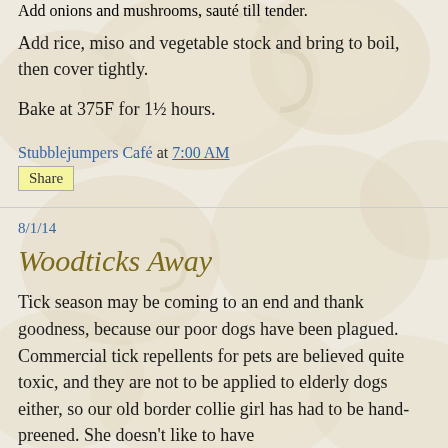Add onions and mushrooms, sauté till tender.
Add rice, miso and vegetable stock and bring to boil, then cover tightly.
Bake at 375F for 1½ hours.
Stubblejumpers Café at 7:00 AM
Share
8/1/14
Woodticks Away
Tick season may be coming to an end and thank goodness, because our poor dogs have been plagued. Commercial tick repellents for pets are believed quite toxic, and they are not to be applied to elderly dogs either, so our old border collie girl has had to be hand-preened. She doesn't like to have